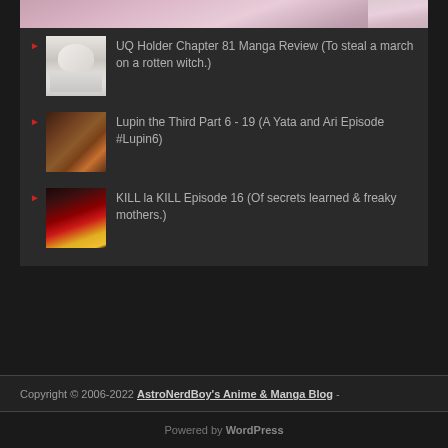[Figure (illustration): Partial anime/manga character image at top, pink-toned illustration, cropped]
UQ Holder Chapter 81 Manga Review (To steal a march on a rotten witch.)
Lupin the Third Part 6 - 19 (A Yata and Ari Episode #Lupin6)
KILL la KILL Episode 16 (Of secrets learned & freaky mothers.)
Copyright © 2006-2022 AstroNerdBoy's Anime & Manga Blog -
Powered by WordPress